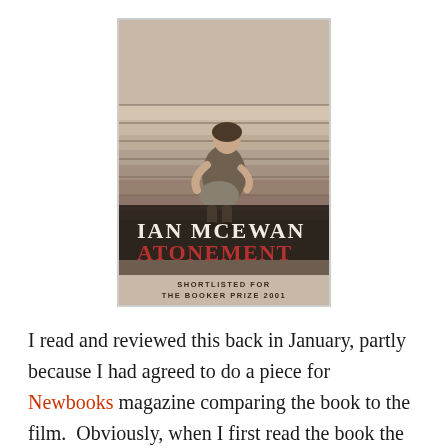[Figure (photo): Book cover of 'Atonement' by Ian McEwan. Shows a child sitting on stone steps in a sepia/black-and-white photograph. Text on cover reads 'IAN MCEWAN' in white capital letters and 'ATONEMENT' in red letters. Below: 'SHORTLISTED FOR THE BOOKER PRIZE 2001'.]
I read and reviewed this back in January, partly because I had agreed to do a piece for Newbooks magazine comparing the book to the film.  Obviously, when I first read the book the film had not been made but this was